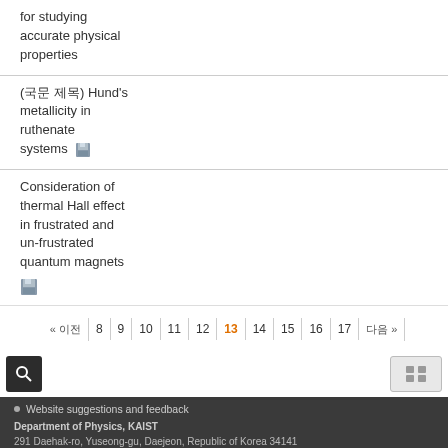for studying accurate physical properties
(국문 제목) Hund's metallicity in ruthenate systems
Consideration of thermal Hall effect in frustrated and un-frustrated quantum magnets
«  이전  8  9  10  11  12  13  14  15  16  17  다음 »
Website suggestions and feedback
Department of Physics, KAIST
291 Daehak-ro, Yuseong-gu, Daejeon, Republic of Korea 34141
Copyright (C) 2018 KAIST, All Rights Reserved.